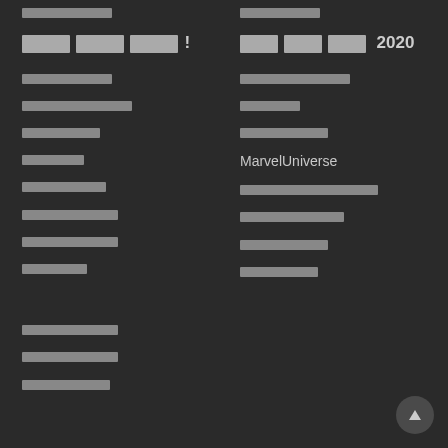[redacted]
[redacted]!
[redacted]
[redacted]
[redacted]
[redacted]
[redacted]
[redacted]
[redacted]
[redacted]
[redacted]
[redacted]
[redacted]
[redacted] 2020
[redacted]
[redacted]
[redacted]
MarvelUniverse
[redacted]
[redacted]
[redacted]
[redacted]